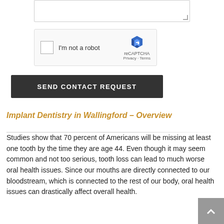[Figure (screenshot): Textarea input box at the top of a contact form]
[Figure (screenshot): reCAPTCHA widget with checkbox labeled 'I'm not a robot' and Google reCAPTCHA logo]
SEND CONTACT REQUEST
Implant Dentistry in Wallingford – Overview
Studies show that 70 percent of Americans will be missing at least one tooth by the time they are age 44. Even though it may seem common and not too serious, tooth loss can lead to much worse oral health issues. Since our mouths are directly connected to our bloodstream, which is connected to the rest of our body, oral health issues can drastically affect overall health.